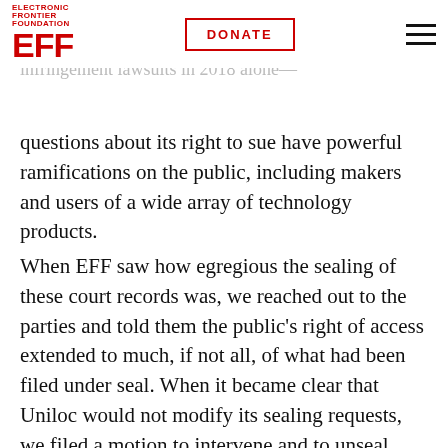EFF | DONATE
infringing the patents in the case. Because Uniloc is a prolific patent litigant—it filed more than 170 patent infringement lawsuits in 2018 alone—questions about its right to sue have powerful ramifications on the public, including makers and users of a wide array of technology products.
When EFF saw how egregious the sealing of these court records was, we reached out to the parties and told them the public's right of access extended to much, if not all, of what had been filed under seal. When it became clear that Uniloc would not modify its sealing requests, we filed a motion to intervene and to unseal everything. The judge in this case agreed with us, ruling that the redactions were wildly improper and ordered everything unsealed.